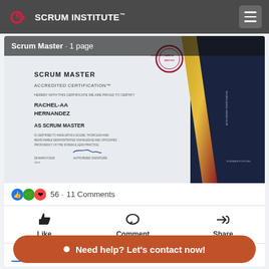SCRUM INSTITUTE™
[Figure (screenshot): Scrum Master Accredited Certification document preview showing a certificate awarded to RACHEL-AA HERNANDEZ as Scrum Master, with signature and dark navy/gold decorative border]
Scrum Master · 1 page
56 · 11 Comments
Like   Comment   Share
Need help? Let's contact now!